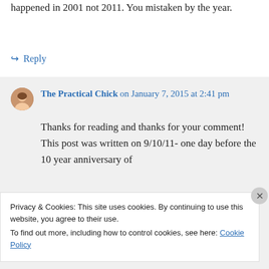happened in 2001 not 2011. You mistaken by the year.
↪ Reply
The Practical Chick on January 7, 2015 at 2:41 pm
Thanks for reading and thanks for your comment! This post was written on 9/10/11- one day before the 10 year anniversary of
Privacy & Cookies: This site uses cookies. By continuing to use this website, you agree to their use.
To find out more, including how to control cookies, see here: Cookie Policy
Close and accept